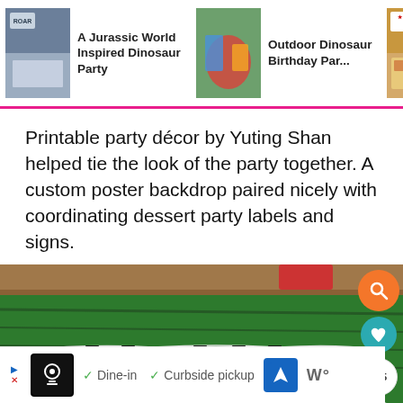[Figure (screenshot): Navigation bar with three related article thumbnails and titles: 'A Jurassic World Inspired Dinosaur Party', 'Outdoor Dinosaur Birthday Par...', 'Roaring Dinosaur Birthday P']
Printable party décor by Yuting Shan helped tie the look of the party together. A custom poster backdrop paired nicely with coordinating dessert party labels and signs.
[Figure (photo): Close-up photo of a green grass-textured table cover with black and white dinosaur skeleton bunting flags strung across it. Red container visible at top. Floating UI buttons on right side: orange search button, teal heart button showing 695 likes, and share button.]
[Figure (screenshot): Advertisement bar at bottom showing a restaurant ad with logo, checkmarks for Dine-in and Curbside pickup options, navigation arrow icon, and additional icons.]